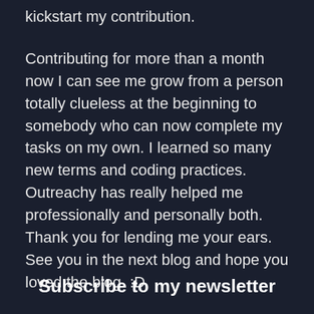kickstart my contribution.
Contributing for more than a month now I can see me grow from a person totally clueless at the beginning to somebody who can now complete my tasks on my own. I learned so many new terms and coding practices. Outreachy has really helped me professionally and personally both. Thank you for lending me your ears. See you in the next blog and hope you loved the blog. :D
Subscribe to my newsletter